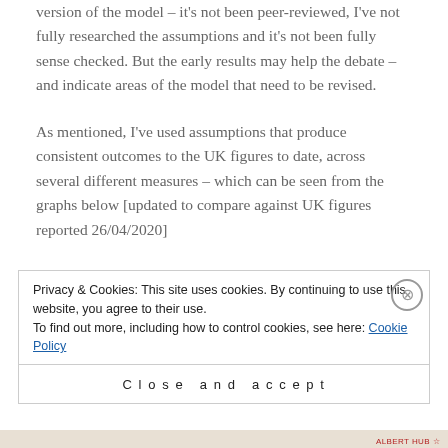version of the model – it's not been peer-reviewed, I've not fully researched the assumptions and it's not been fully sense checked. But the early results may help the debate – and indicate areas of the model that need to be revised.
As mentioned, I've used assumptions that produce consistent outcomes to the UK figures to date, across several different measures – which can be seen from the graphs below [updated to compare against UK figures reported 26/04/2020]
Privacy & Cookies: This site uses cookies. By continuing to use this website, you agree to their use.
To find out more, including how to control cookies, see here: Cookie Policy
Close and accept